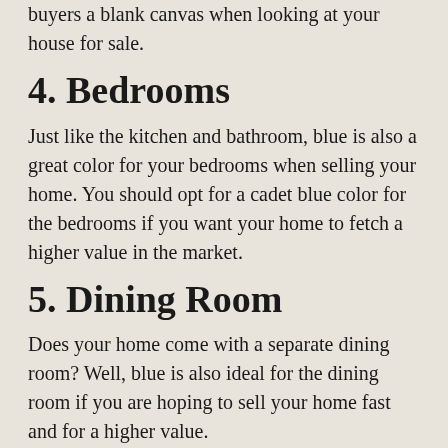buyers a blank canvas when looking at your house for sale.
4. Bedrooms
Just like the kitchen and bathroom, blue is also a great color for your bedrooms when selling your home. You should opt for a cadet blue color for the bedrooms if you want your home to fetch a higher value in the market.
5. Dining Room
Does your home come with a separate dining room? Well, blue is also ideal for the dining room if you are hoping to sell your home fast and for a higher value.
Conclusion
Having these neutral colors in the house makes it feel